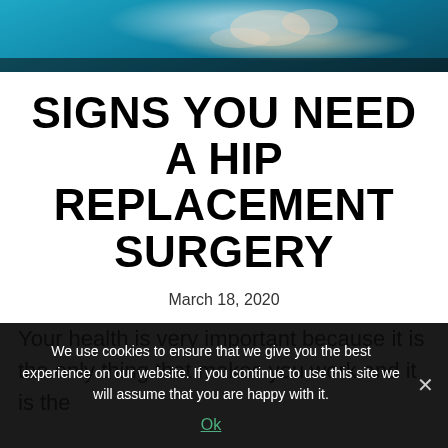[Figure (photo): Surgery scene — gloved hands of surgeons operating, teal/blue surgical drapes visible]
SIGNS YOU NEED A HIP REPLACEMENT SURGERY
March 18, 2020
Your health is very important because it is the only thing that makes you work and it is the
We use cookies to ensure that we give you the best experience on our website. If you continue to use this site we will assume that you are happy with it.
Ok